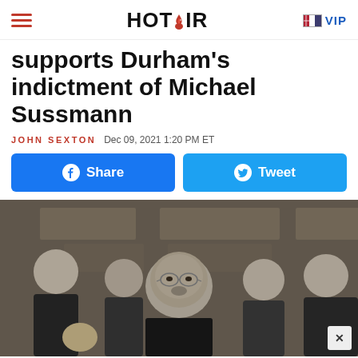HOT AIR | VIP
supports Durham's indictment of Michael Sussmann
JOHN SEXTON  Dec 09, 2021 1:20 PM ET
[Figure (screenshot): Facebook Share button and Twitter Tweet button]
[Figure (photo): Photo of John Durham with group of people outside a courthouse building]